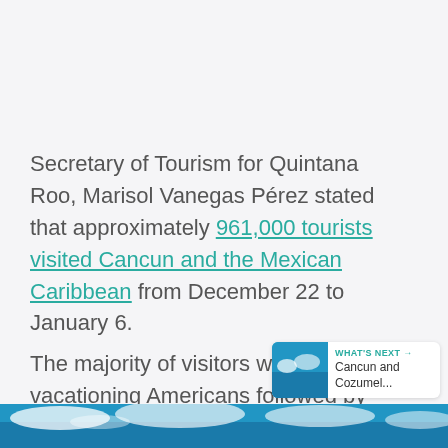Secretary of Tourism for Quintana Roo, Marisol Vanegas Pérez stated that approximately 961,000 tourists visited Cancun and the Mexican Caribbean from December 22 to January 6.
The majority of visitors were vacationing Americans followed by national tourists.
[Figure (screenshot): Circular teal heart/like button with count 567 and share button below]
[Figure (infographic): WHAT'S NEXT card with beach thumbnail image and text 'Cancun and Cozumel...']
[Figure (photo): Bottom strip showing blue sky and clouds over water, vacation/beach scene]